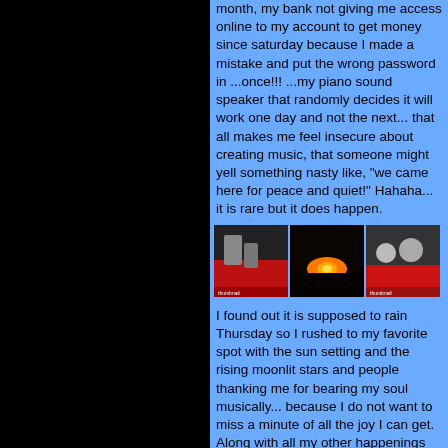month, my bank not giving me access online to my account to get money since saturday because I made a mistake and put the wrong password in ...once!!! ...my piano sound speaker that randomly decides it will work one day and not the next... that all makes me feel insecure about creating music, that someone might yell something nasty like, "we came here for peace and quiet!" Hahaha... it is rare but it does happen.
[Figure (photo): Three photos in a row: people on a red truck at night, a sunset over a dark landscape, and two people near a red vehicle]
I found out it is supposed to rain Thursday so I rushed to my favorite spot with the sun setting and the rising moonlit stars and people thanking me for bearing my soul musically... because I do not want to miss a minute of all the joy I can get. Along with all my other happenings and realizations with people and my music... tonight I became aware that people have been thanking me for showing my